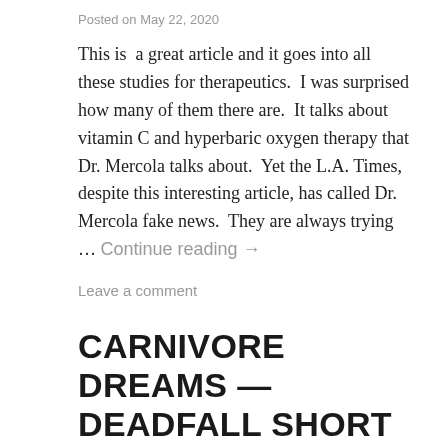Posted on May 22, 2020
This is  a great article and it goes into all these studies for therapeutics.  I was surprised how many of them there are.  It talks about vitamin C and hyperbaric oxygen therapy that Dr. Mercola talks about.  Yet the L.A. Times, despite this interesting article, has called Dr. Mercola fake news.  They are always trying … Continue reading →
Leave a comment
CARNIVORE DREAMS — DEADFALL SHORT STORY
Posted on May 22, 2020
Available at Amazon and Wayne State University. I'm